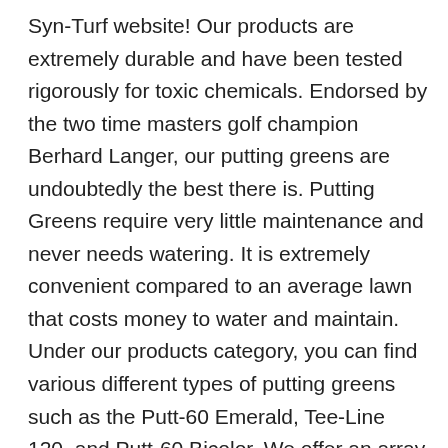Syn-Turf website! Our products are extremely durable and have been tested rigorously for toxic chemicals. Endorsed by the two time masters golf champion Berhard Langer, our putting greens are undoubtedly the best there is. Putting Greens require very little maintenance and never needs watering. It is extremely convenient compared to an average lawn that costs money to water and maintain. Under our products category, you can find various different types of putting greens such as the Putt-60 Emerald, Tee-Line 120, and Putt-60 Bicolor. We offer an array of models, each of which have their own color, height, thatching, etc. Global Syn-Turf distributes many types of artificial grass to all states in the U.S., as well as recommend professional installers that will leave your lawn looking fresh cut all year long.